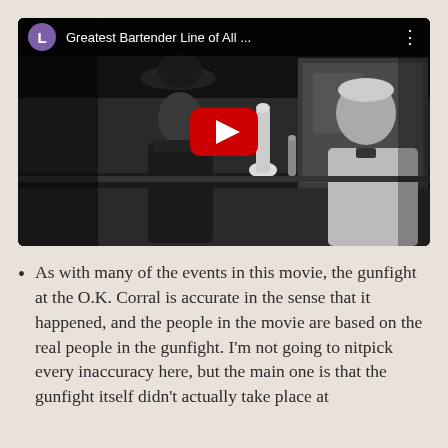[Figure (screenshot): YouTube video thumbnail showing a black-and-white film scene of two men at a bar, with a YouTube play button overlay. The video title reads 'Greatest Bartender Line of All ...' with a purple 'L' avatar icon.]
As with many of the events in this movie, the gunfight at the O.K. Corral is accurate in the sense that it happened, and the people in the movie are based on the real people in the gunfight. I'm not going to nitpick every inaccuracy here, but the main one is that the gunfight itself didn't actually take place at